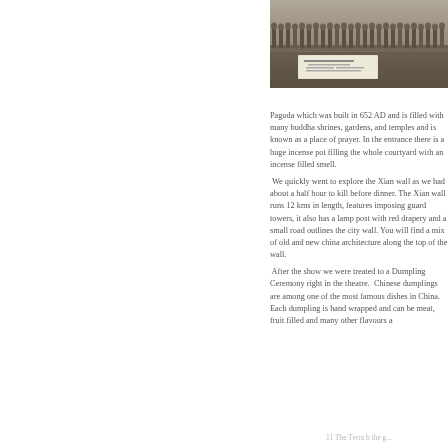[Figure (photo): Aerial/overhead view of the Terracotta Warriors excavation site in Xi'an, China, showing rows of clay warrior statues in an earthen pit. A white informational sign is visible in the lower portion of the image.]
Pagoda which was built in 652 AD and is filled with many buddha shrines, gardens, and temples and is known as a place of prayer. In the entrance there is a huge incense pot filling the whole courtyard with an incense filled smell.
 We quickly went to explore the Xian wall as we had about a half hour to kill before dinner. The Xian wall runs 12 kms in length, features imposing guard towers, it also has a lamp post with red drapery and a small road outlines the city wall. You will find a mix of old and new china architecture along the top of the wall.
 After the show we were treated to a Dumpling Ceremony right in the theatre.  Chinese dumplings are among one of the most famous dishes in China. Each dumpling is hand wrapped and can be meat, fruit filled and many other flavours a
11 The Terra b the g...